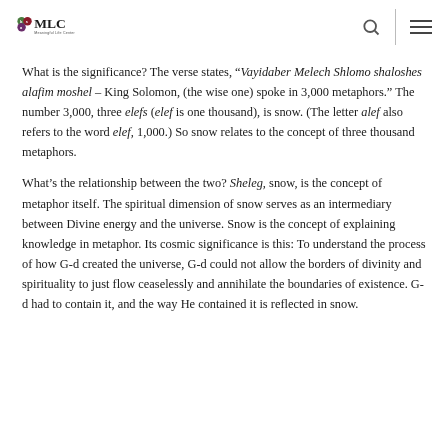MLC Meaningful Life Center
What is the significance? The verse states, “Vayidaber Melech Shlomo shaloshes alafim moshel – King Solomon, (the wise one) spoke in 3,000 metaphors.” The number 3,000, three elefs (elef is one thousand), is snow. (The letter alef also refers to the word elef, 1,000.) So snow relates to the concept of three thousand metaphors.
What’s the relationship between the two? Sheleg, snow, is the concept of metaphor itself. The spiritual dimension of snow serves as an intermediary between Divine energy and the universe. Snow is the concept of explaining knowledge in metaphor. Its cosmic significance is this: To understand the process of how G-d created the universe, G-d could not allow the borders of divinity and spirituality to just flow ceaselessly and annihilate the boundaries of existence. G-d had to contain it, and the way He contained it is reflected in snow.